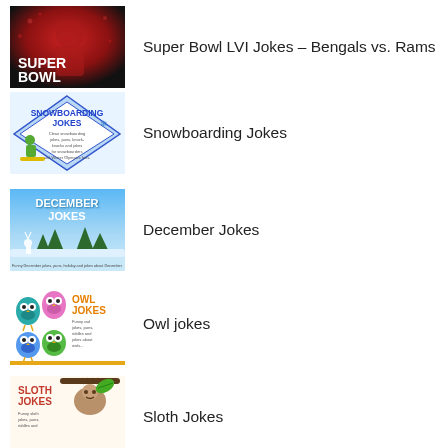[Figure (photo): Super Bowl LVI thumbnail with football player in red jersey and SUPER BOWL text]
Super Bowl LVI Jokes – Bengals vs. Rams
[Figure (photo): Snowboarding Jokes book cover with snowboarder illustration and blue/white theme]
Snowboarding Jokes
[Figure (photo): December Jokes thumbnail with blue winter sky and DECEMBER JOKES text]
December Jokes
[Figure (photo): Owl Jokes thumbnail with colorful owl illustrations and OWL JOKES text in orange]
Owl jokes
[Figure (photo): Sloth Jokes thumbnail with sloth hanging from branch and SLOTH JOKES text in red]
Sloth Jokes